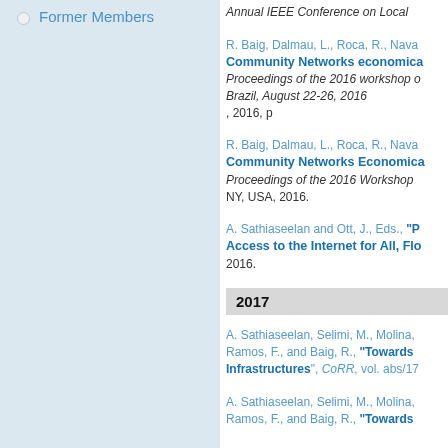Former Members
R. Baig, Dalmau, L., Roca, R., Nava...
Community Networks economica... Proceedings of the 2016 workshop... Brazil, August 22-26, 2016, 2016, p...
R. Baig, Dalmau, L., Roca, R., Nava...
Community Networks Economica... Proceedings of the 2016 Workshop... NY, USA, 2016.
A. Sathiaseelan and Ott, J., Eds., "P... Access to the Internet for All, Flo... 2016.
2017
A. Sathiaseelan, Selimi, M., Molina,... Ramos, F., and Baig, R., "Towards... Infrastructures", CoRR, vol. abs/17...
A. Sathiaseelan, Selimi, M., Molina,... Ramos, F., and Baig, R., "Towards...